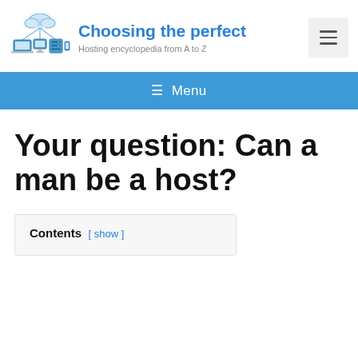Choosing the perfect — Hosting encyclopedia from A to Z
≡ Menu
Your question: Can a man be a host?
Contents [ show ]